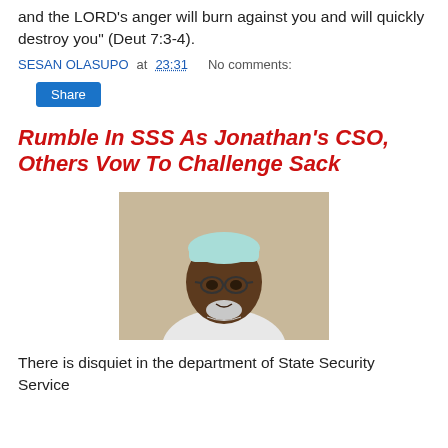and the LORD's anger will burn against you and will quickly destroy you" (Deut 7:3-4).
SESAN OLASUPO at 23:31   No comments:
Share
Rumble In SSS As Jonathan's CSO, Others Vow To Challenge Sack
[Figure (photo): Portrait photo of an elderly man wearing a light blue cap and white traditional attire, with glasses and a white beard, smiling slightly against a beige background.]
There is disquiet in the department of State Security Service